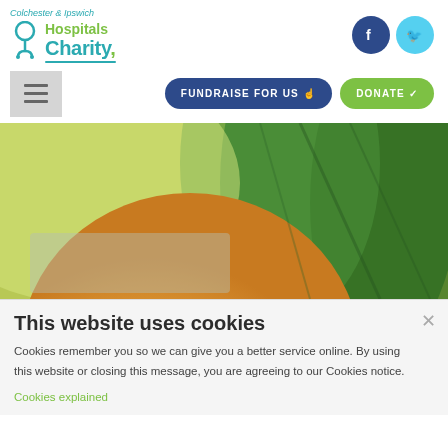[Figure (logo): Colchester & Ipswich Hospitals Charity logo with stethoscope icon and teal/green text]
[Figure (logo): Facebook and Twitter social media icons (circular, blue)]
[Figure (screenshot): Navigation bar with hamburger menu, FUNDRAISE FOR US button (dark blue pill), and DONATE button (green pill)]
[Figure (photo): Close-up photo of a lemon and green leaves, blurred background]
This website uses cookies
Cookies remember you so we can give you a better service online. By using this website or closing this message, you are agreeing to our Cookies notice.
Cookies explained